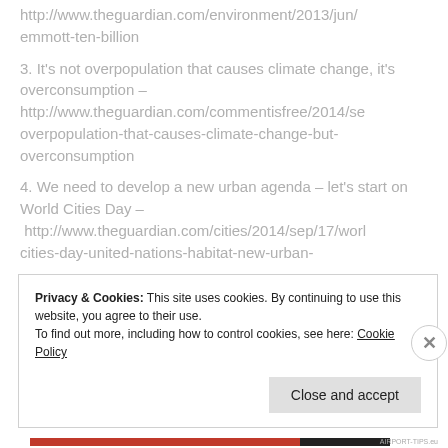http://www.theguardian.com/environment/2013/jun/emmott-ten-billion
3. It's not overpopulation that causes climate change, it's overconsumption – http://www.theguardian.com/commentisfree/2014/se overpopulation-that-causes-climate-change-but-overconsumption
4. We need to develop a new urban agenda – let's start on World Cities Day – http://www.theguardian.com/cities/2014/sep/17/worl cities-day-united-nations-habitat-new-urban-
Privacy & Cookies: This site uses cookies. By continuing to use this website, you agree to their use.
To find out more, including how to control cookies, see here: Cookie Policy
Close and accept